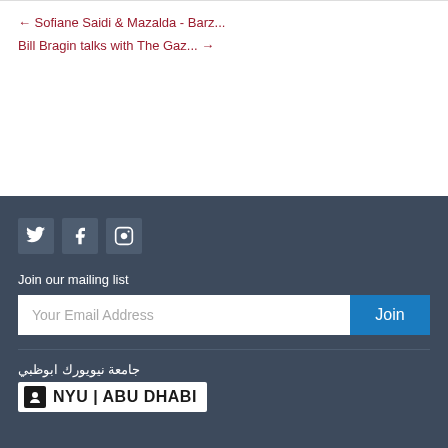← Sofiane Saidi & Mazalda - Barz...
Bill Bragin talks with The Gaz... →
[Figure (other): Social media icons: Twitter, Facebook, Instagram]
Join our mailing list
Your Email Address
Join
[Figure (logo): NYU Abu Dhabi logo with Arabic text جامعة نيويورك ابوظبي]
جامعة نيويورك ابوظبي | NYU ABU DHABI